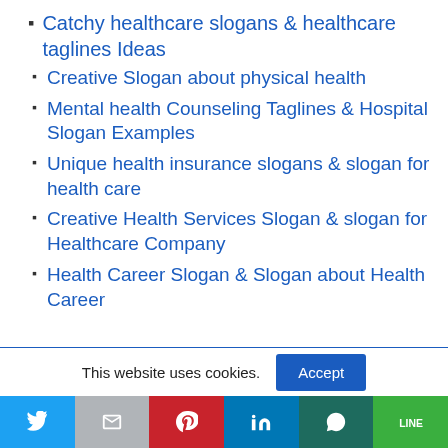Catchy healthcare slogans & healthcare taglines Ideas
Creative Slogan about physical health
Mental health Counseling Taglines & Hospital Slogan Examples
Unique health insurance slogans & slogan for health care
Creative Health Services Slogan & slogan for Healthcare Company
Health Career Slogan & Slogan about Health Career
This website uses cookies.
Social share bar: Twitter, Gmail, Pinterest, LinkedIn, WhatsApp, Line